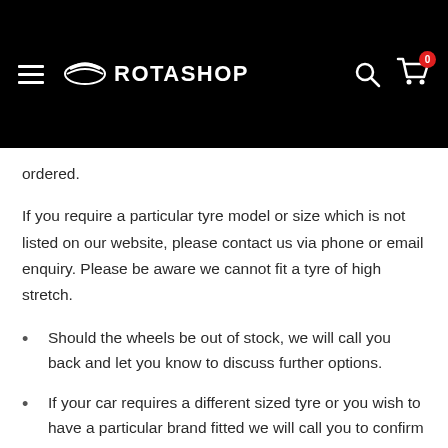ROTASHOP
ordered.
If you require a particular tyre model or size which is not listed on our website, please contact us via phone or email enquiry. Please be aware we cannot fit a tyre of high stretch.
Should the wheels be out of stock, we will call you back and let you know to discuss further options.
If your car requires a different sized tyre or you wish to have a particular brand fitted we will call you to confirm this.